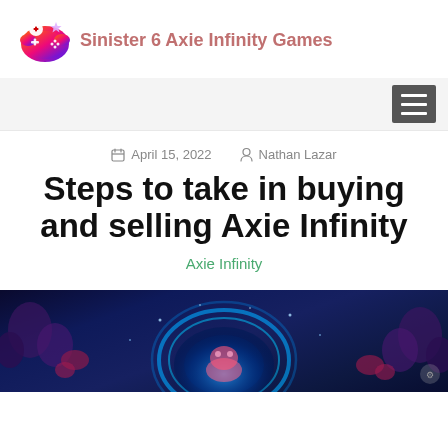Sinister 6 Axie Infinity Games
April 15, 2022   Nathan Lazar
Steps to take in buying and selling Axie Infinity
Axie Infinity
[Figure (screenshot): Dark blue fantasy game scene with glowing blue circular energy field, colorful creatures and foliage in the background — Axie Infinity game screenshot]